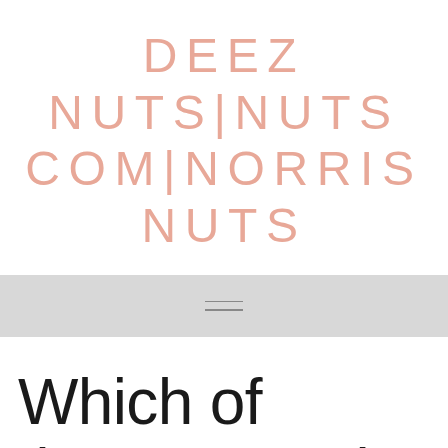DEEZ NUTS|NUTS COM|NORRIS NUTS
[Figure (other): Hamburger menu icon (three horizontal lines) on a light gray navigation bar]
Which of these posts is most nuts